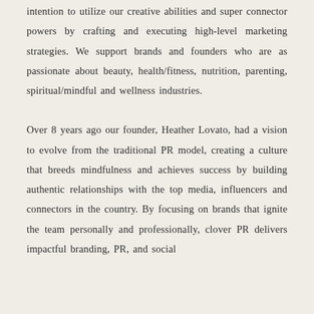intention to utilize our creative abilities and super connector powers by crafting and executing high-level marketing strategies. We support brands and founders who are as passionate about beauty, health/fitness, nutrition, parenting, spiritual/mindful and wellness industries.
Over 8 years ago our founder, Heather Lovato, had a vision to evolve from the traditional PR model, creating a culture that breeds mindfulness and achieves success by building authentic relationships with the top media, influencers and connectors in the country. By focusing on brands that ignite the team personally and professionally, clover PR delivers impactful branding, PR, and social